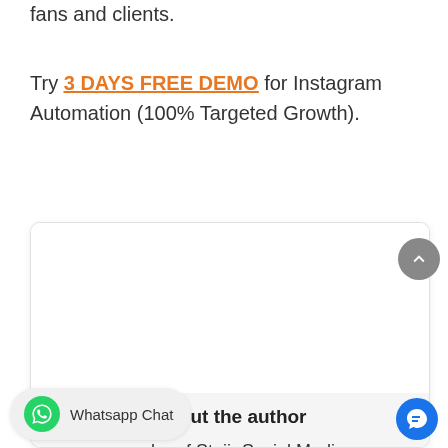fans and clients.
Try 3 DAYS FREE DEMO for Instagram Automation (100% Targeted Growth).
[Figure (other): Card with white upper area and light gray lower area containing 'About the author' heading and 'founder of Staiir Social Media' text, with a scroll-to-top button and WhatsApp Chat pill button at bottom left and a blue chat icon at bottom right.]